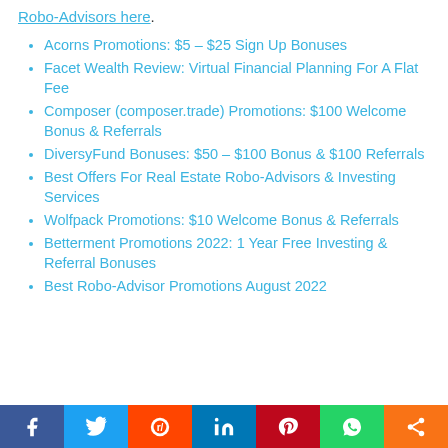Robo-Advisors here.
Acorns Promotions: $5 – $25 Sign Up Bonuses
Facet Wealth Review: Virtual Financial Planning For A Flat Fee
Composer (composer.trade) Promotions: $100 Welcome Bonus & Referrals
DiversyFund Bonuses: $50 – $100 Bonus & $100 Referrals
Best Offers For Real Estate Robo-Advisors & Investing Services
Wolfpack Promotions: $10 Welcome Bonus & Referrals
Betterment Promotions 2022: 1 Year Free Investing & Referral Bonuses
Best Robo-Advisor Promotions August 2022
Facebook Twitter Reddit LinkedIn Pinterest WhatsApp Share